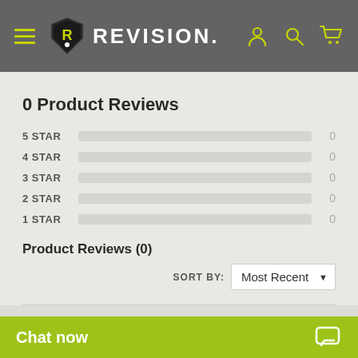REVISION.
0 Product Reviews
5 STAR  0
4 STAR  0
3 STAR  0
2 STAR  0
1 STAR  0
Product Reviews (0)
SORT BY: Most Recent
RELATED PRODUCTS
Chat now